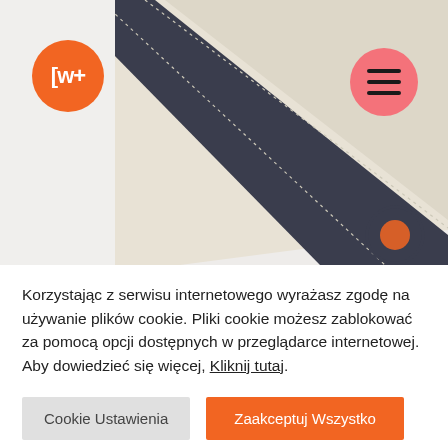[Figure (photo): Close-up of a canvas/fabric bag with dark navy border stitching and cream/beige center, with partial graphic visible. Orange LWF logo circle in top-left, pink hamburger menu circle in top-right.]
Korzystając z serwisu internetowego wyrażasz zgodę na używanie plików cookie. Pliki cookie możesz zablokować za pomocą opcji dostępnych w przeglądarce internetowej. Aby dowiedzieć się więcej, Kliknij tutaj.
Cookie Ustawienia
Zaakceptuj Wszystko